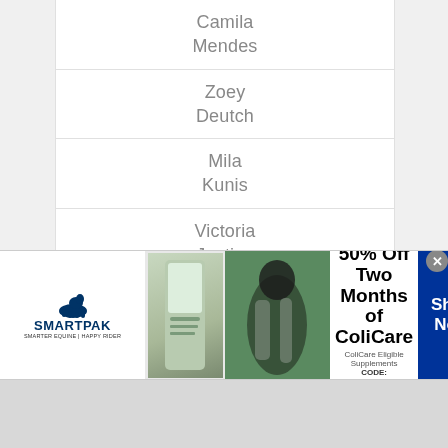Camila
Mendes
Zoey
Deutch
Mila
Kunis
Victoria
Justice
Liz
Gillies
Lea
[Figure (screenshot): SmartPak advertisement banner: 50% Off Two Months of ColiCare. ColiCare Eligible Supplements. CODE: COLICARE10. Shop Now button.]